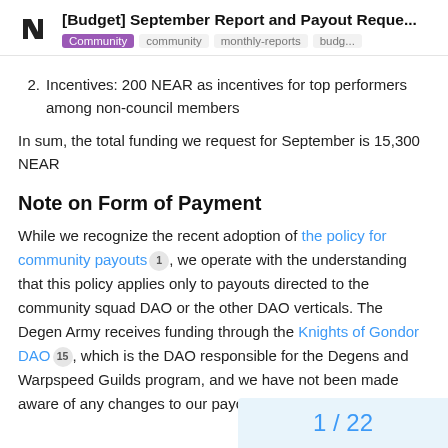[Budget] September Report and Payout Reque...
2. Incentives: 200 NEAR as incentives for top performers among non-council members
In sum, the total funding we request for September is 15,300 NEAR
Note on Form of Payment
While we recognize the recent adoption of the policy for community payouts 1 , we operate with the understanding that this policy applies only to payouts directed to the community squad DAO or the other DAO verticals. The Degen Army receives funding through the Knights of Gondor DAO 15 , which is the DAO responsible for the Degens and Warpspeed Guilds program, and we have not been made aware of any changes to our payout policy.
1 / 22